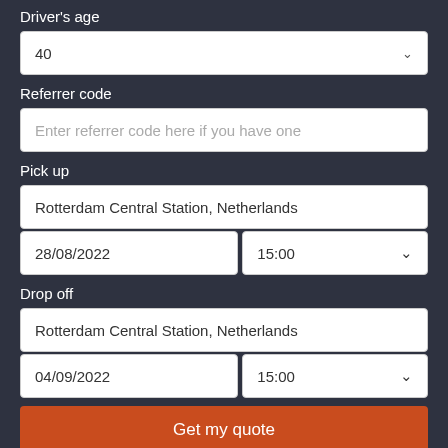Driver's age
40
Referrer code
Enter referrer code here if you have one
Pick up
Rotterdam Central Station, Netherlands
28/08/2022
15:00
Drop off
Rotterdam Central Station, Netherlands
04/09/2022
15:00
Get my quote